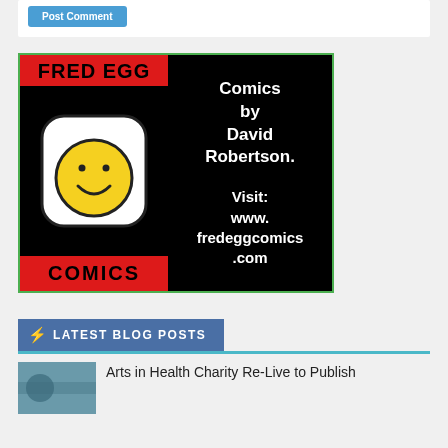[Figure (other): Top of a white card area with a teal/blue button partially visible at top]
[Figure (illustration): Fred Egg Comics advertisement banner. Left half has red panels with 'FRED EGG' at top and 'COMICS' at bottom in black text, with a fried egg character with smiley face in the black middle section. Right half is black with white bold text reading 'Comics by David Robertson. Visit: www.fredeggcomics.com']
LATEST BLOG POSTS
Arts in Health Charity Re-Live to Publish